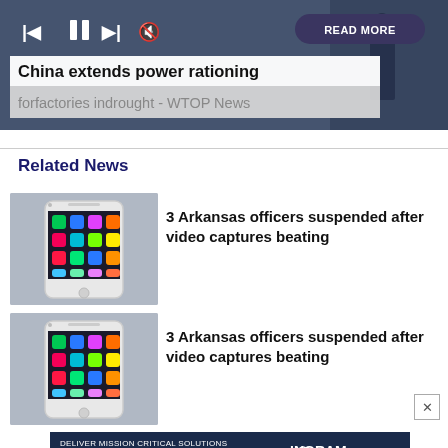[Figure (screenshot): News article header banner with media controls (skip back, pause, skip forward, mute icons), a READ MORE button, and headline text overlaid: 'China extends power rationing' and 'forfactories indrought - WTOP News']
Related News
[Figure (photo): Thumbnail image of a smartphone showing app icons on its screen, gray background]
3 Arkansas officers suspended after video captures beating
[Figure (photo): Thumbnail image of a smartphone showing app icons on its screen, gray background]
3 Arkansas officers suspended after video captures beating
[Figure (infographic): Advertisement banner: DELIVER MISSION CRITICAL SOLUTIONS FOR FEDERAL, STATE AND LOCAL GOVERNMENT MARKETS — INGRAM PUBLIC SECTOR logo]